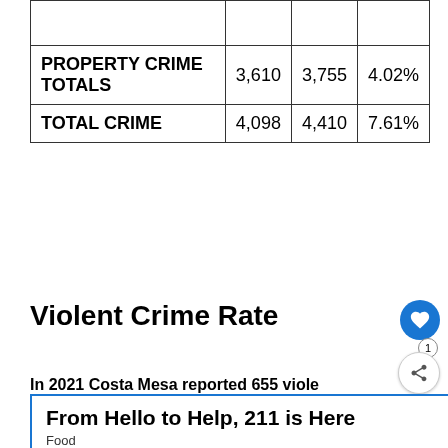|  |  |  |  |
| --- | --- | --- | --- |
|  |  |  |  |
| PROPERTY CRIME TOTALS | 3,610 | 3,755 | 4.02% |
| TOTAL CRIME | 4,098 | 4,410 | 7.61% |
Violent Crime Rate
In 2021 Costa Mesa reported 655 violent crimes and had a violent crime rate of 591.42 per 100,000 residents. Costa Mesa's violent crime rate is 81% less than the
[Figure (screenshot): Advertisement banner: 'From Hello to Help, 211 is Here' with Food subcategory label]